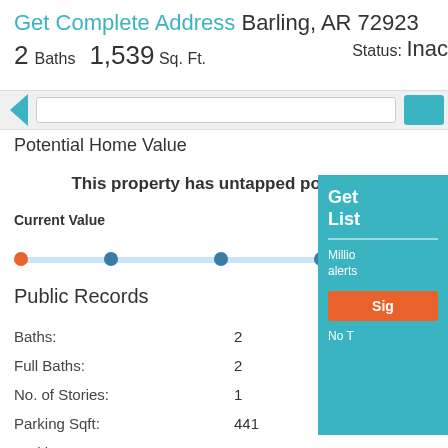Get Complete Address Barling, AR 72923
2 Baths  1,539 Sq. Ft.  Status: Inac
[Figure (screenshot): Navigation bar with arrow and teal button]
Potential Home Value
This property has untapped potential!
Current Value    Potential V... Sign in to vie
[Figure (other): Value slider with orange dot at left and four blue dots across track]
Public Records
| Field | Value |
| --- | --- |
| Baths: | 2 |
| Full Baths: | 2 |
| No. of Stories: | 1 |
| Parking Sqft: | 441 |
| Parking: | FINISHED ATTACHED MASONRY |
[Figure (screenshot): Overlay panel: Get List, Millions alerts, Sign button, No T...]